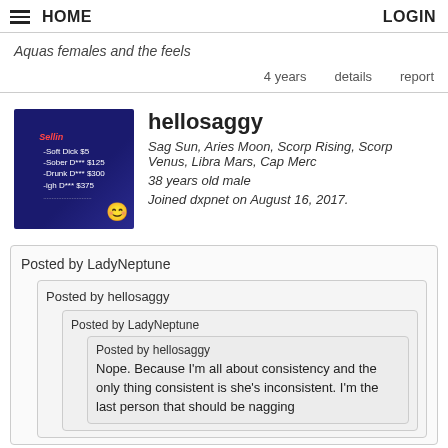HOME   LOGIN
Aquas females and the feels
4 years   details   report
hellosaggy
Sag Sun, Aries Moon, Scorp Rising, Scorp Venus, Libra Mars, Cap Merc
38 years old male
Joined dxpnet on August 16, 2017.
Posted by LadyNeptune
Posted by hellosaggy
Posted by LadyNeptune
Posted by hellosaggy
Nope. Because I'm all about consistency and the only thing consistent is she's inconsistent. I'm the last person that should be nagging